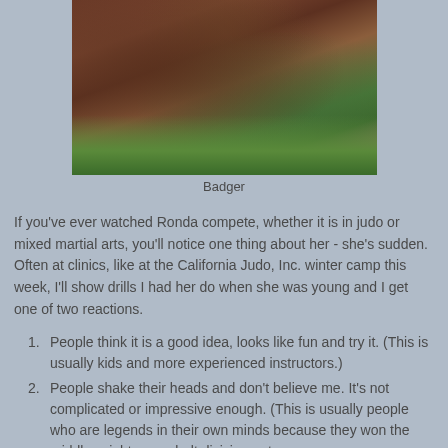[Figure (photo): Photo of a badger digging in dirt/soil with grass visible]
Badger
If you've ever watched Ronda compete, whether it is in judo or mixed martial arts, you'll notice one thing about her - she's sudden. Often at clinics, like at the California Judo, Inc. winter camp this week, I'll show drills I had her do when she was young and I get one of two reactions.
People think it is a good idea, looks like fun and try it. (This is usually kids and more experienced instructors.)
People shake their heads and don't believe me. It's not complicated or impressive enough. (This is usually people who are legends in their own minds because they won the middleweight green belt division not once